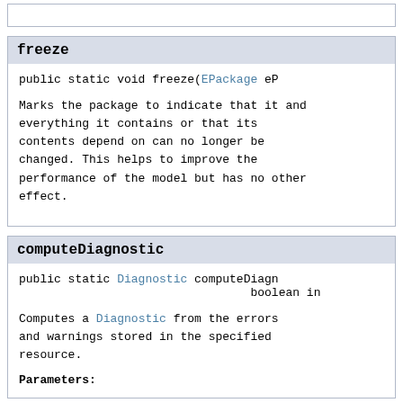freeze
public static void freeze(EPackage eP
Marks the package to indicate that it and everything it contains or that its contents depend on can no longer be changed. This helps to improve the performance of the model but has no other effect.
computeDiagnostic
public static Diagnostic computeDiagn
                           boolean in
Computes a Diagnostic from the errors and warnings stored in the specified resource.
Parameters: